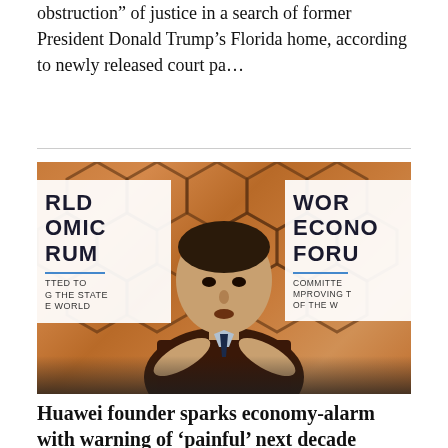obstruction" of justice in a search of former President Donald Trump's Florida home, according to newly released court pa...
[Figure (photo): Man (Huawei founder Ren Zhengfei) gesturing with crossed hands in front of World Economic Forum banners at a conference venue with orange hexagonal background]
Huawei founder sparks economy-alarm with warning of 'painful' next decade